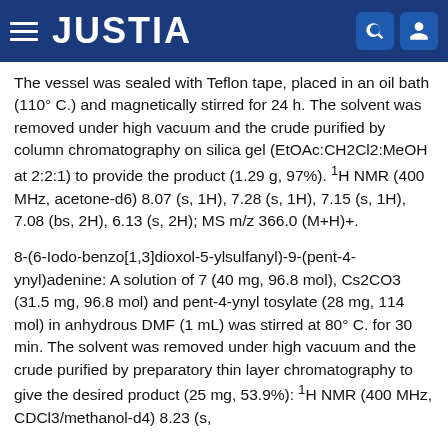JUSTIA
The vessel was sealed with Teflon tape, placed in an oil bath (110° C.) and magnetically stirred for 24 h. The solvent was removed under high vacuum and the crude purified by column chromatography on silica gel (EtOAc:CH2Cl2:MeOH at 2:2:1) to provide the product (1.29 g, 97%). 1H NMR (400 MHz, acetone-d6) 8.07 (s, 1H), 7.28 (s, 1H), 7.15 (s, 1H), 7.08 (bs, 2H), 6.13 (s, 2H); MS m/z 366.0 (M+H)+.
8-(6-Iodo-benzo[1,3]dioxol-5-ylsulfanyl)-9-(pent-4-ynyl)adenine: A solution of 7 (40 mg, 96.8 mol), Cs2CO3 (31.5 mg, 96.8 mol) and pent-4-ynyl tosylate (28 mg, 114 mol) in anhydrous DMF (1 mL) was stirred at 80° C. for 30 min. The solvent was removed under high vacuum and the crude purified by preparatory thin layer chromatography to give the desired product (25 mg, 53.9%): 1H NMR (400 MHz, CDCl3/methanol-d4) 8.23 (s,